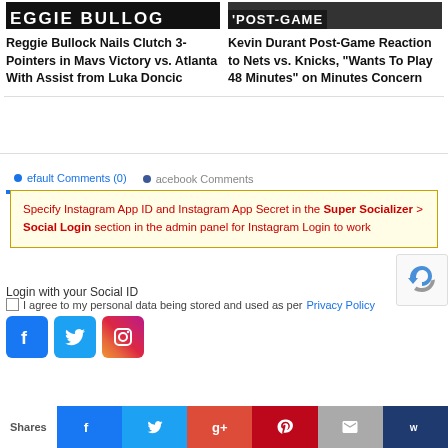[Figure (screenshot): Article thumbnail image for Reggie Bullock with large bold text]
Reggie Bullock Nails Clutch 3-Pointers in Mavs Victory vs. Atlanta With Assist from Luka Doncic
[Figure (screenshot): Article thumbnail image for Kevin Durant with POST-GAME text]
Kevin Durant Post-Game Reaction to Nets vs. Knicks, "Wants To Play 48 Minutes" on Minutes Concern
Default Comments (0)
Facebook Comments
Specify Instagram App ID and Instagram App Secret in the Super Socializer > Social Login section in the admin panel for Instagram Login to work
Login with your Social ID
I agree to my personal data being stored and used as per Privacy Policy
[Figure (logo): Facebook, Twitter, and Instagram social login buttons]
[Figure (other): reCAPTCHA widget]
Shares
[Figure (infographic): Social share bar with Facebook, Twitter, Google+, Pinterest, Email, and Bookmark buttons]